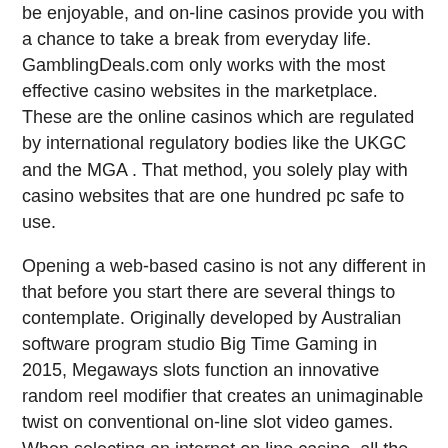be enjoyable, and on-line casinos provide you with a chance to take a break from everyday life. GamblingDeals.com only works with the most effective casino websites in the marketplace. These are the online casinos which are regulated by international regulatory bodies like the UKGC and the MGA . That method, you solely play with casino websites that are one hundred pc safe to use.
Opening a web-based casino is not any different in that before you start there are several things to contemplate. Originally developed by Australian software program studio Big Time Gaming in 2015, Megaways slots function an innovative random reel modifier that creates an unimaginable twist on conventional on-line slot video games. When selecting an internet on line casino, all the time ensure that it is licensed and regulated by a trusted authority and that it has plenty of positive evaluations on-line. A casino with a fantastic popularity will go to great lengths to guard their clients.
From the welcome supply to the thrilling Prize Twister slots, there are numerous methods to maintain your account topped up with spins so you possibly can play choose slots free of charge. The casino web site masses smoothly and is convenient to make use of, even though there aren't any stand-out innovative options…